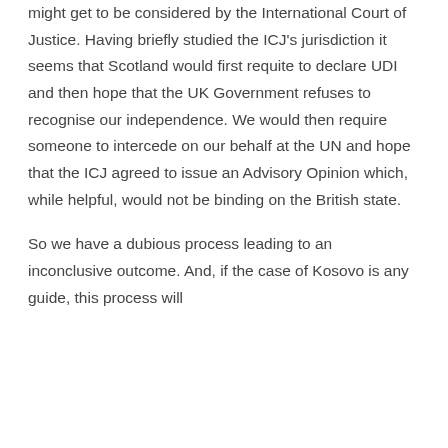might get to be considered by the International Court of Justice. Having briefly studied the ICJ's jurisdiction it seems that Scotland would first requite to declare UDI and then hope that the UK Government refuses to recognise our independence. We would then require someone to intercede on our behalf at the UN and hope that the ICJ agreed to issue an Advisory Opinion which, while helpful, would not be binding on the British state.
So we have a dubious process leading to an inconclusive outcome. And, if the case of Kosovo is any guide, this process will